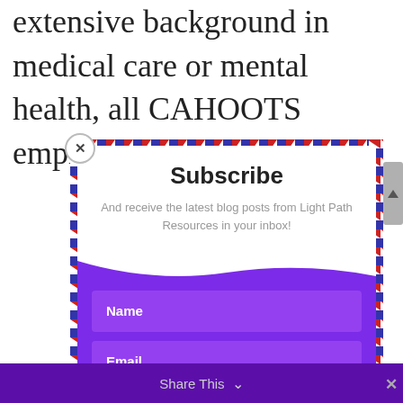extensive background in medical care or mental health, all CAHOOTS employees
[Figure (screenshot): Subscribe modal popup with airmail dashed border, close button (x), title 'Subscribe', subtitle 'And receive the latest blog posts from Light Path Resources in your inbox!', purple background section with Name and Email input fields, and a SUBSCRIBE! button]
Share This
x